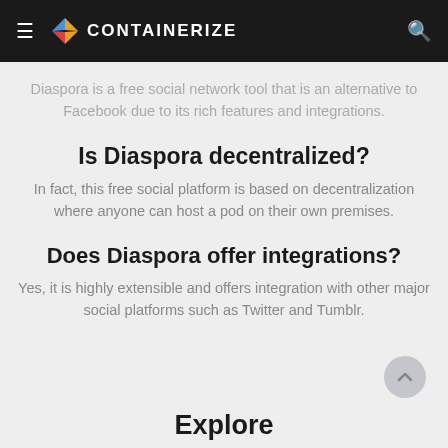CONTAINERIZE
Diaspora is a free social network tool that is an alternative to Facebook due to its rich features and integrations.
Is Diaspora decentralized?
In fact, this free social platform is based on decentralization where anyone can host a pod on their own premises.
Does Diaspora offer integrations?
Yes, it is highly extensible and offers integration with other major social platforms such as Twitter and Tumblr.
Explore